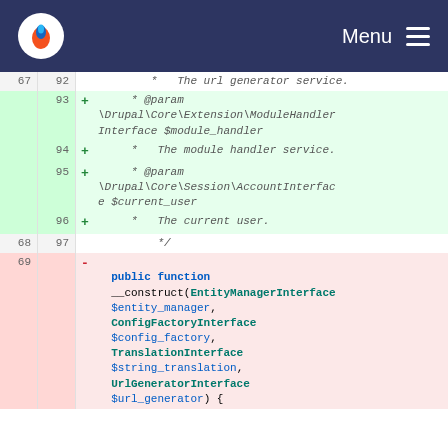Menu
Diff view of PHP code showing added lines (green) for @param \Drupal\Core\Extension\ModuleHandlerInterface $module_handler, @param \Drupal\Core\Session\AccountInterface $current_user, and removed line 69 showing public function __construct(EntityManagerInterface $entity_manager, ConfigFactoryInterface $config_factory, TranslationInterface $string_translation, UrlGeneratorInterface $url_generator) {